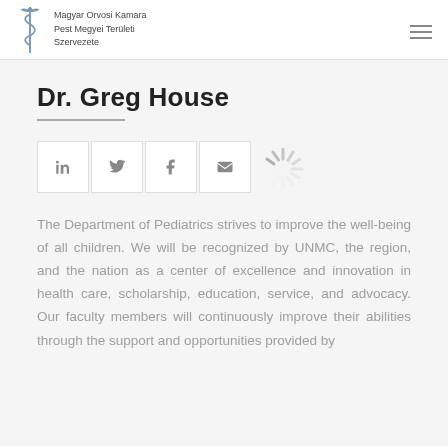Magyar Orvosi Kamara Pest Megyei Területi Szervezete
Dr. Greg House
[Figure (other): Social media icon buttons: LinkedIn, Twitter, Facebook, Email, and a loading spinner graphic]
The Department of Pediatrics strives to improve the well-being of all children.  We will be recognized by UNMC, the region, and the nation as a center of excellence and innovation in health care, scholarship, education, service, and advocacy.  Our faculty members will continuously improve their abilities through the support and opportunities provided by